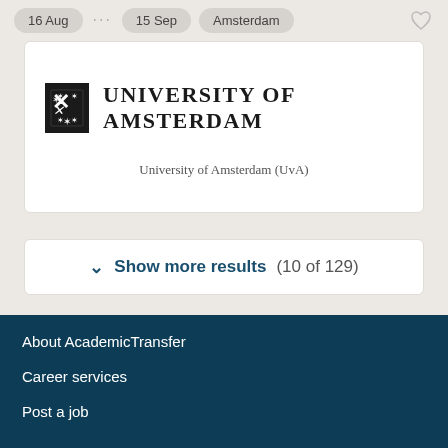16 Aug ... 15 Sep Amsterdam
[Figure (logo): University of Amsterdam logo with black square UvA emblem and text UNIVERSITY OF AMSTERDAM]
University of Amsterdam (UvA)
Show more results (10 of 129)
About AcademicTransfer
Career services
Post a job